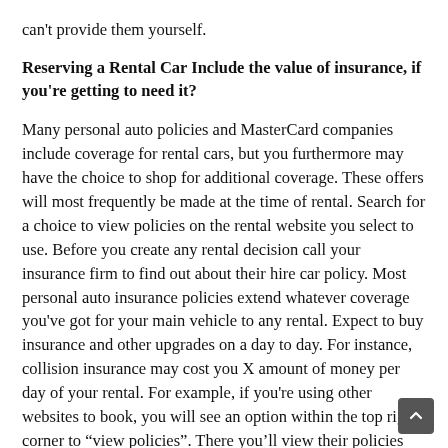can't provide them yourself.
Reserving a Rental Car Include the value of insurance, if you're getting to need it?
Many personal auto policies and MasterCard companies include coverage for rental cars, but you furthermore may have the choice to shop for additional coverage. These offers will most frequently be made at the time of rental. Search for a choice to view policies on the rental website you select to use. Before you create any rental decision call your insurance firm to find out about their hire car policy. Most personal auto insurance policies extend whatever coverage you've got for your main vehicle to any rental. Expect to buy insurance and other upgrades on a day to day. For instance, collision insurance may cost you X amount of money per day of your rental. For example, if you're using other websites to book, you will see an option within the top right corner to "view policies". There you'll view their policies for things